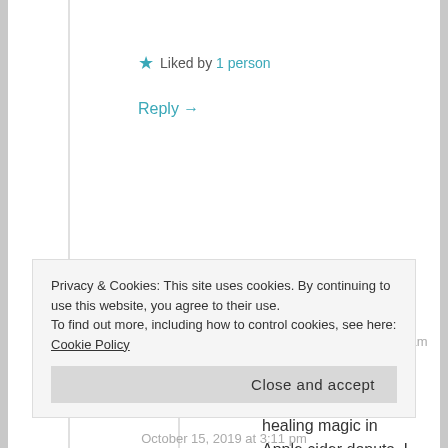★ Liked by 1 person
Reply →
[Figure (illustration): Circular avatar icon with teal/green geometric pattern]
ANI
October 15, 2019 at 8:36 am
There is some sort of healing magic in Apple cider donuts. I firmly believe that.
Privacy & Cookies: This site uses cookies. By continuing to use this website, you agree to their use.
To find out more, including how to control cookies, see here: Cookie Policy
Close and accept
October 15, 2019 at 3:11 pm